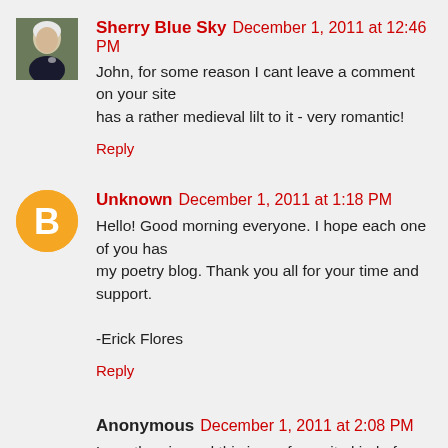Sherry Blue Sky  December 1, 2011 at 12:46 PM
John, for some reason I cant leave a comment on your site has a rather medieval lilt to it - very romantic!
Reply
Unknown  December 1, 2011 at 1:18 PM
Hello! Good morning everyone. I hope each one of you has my poetry blog. Thank you all for your time and support.

-Erick Flores
Reply
Anonymous  December 1, 2011 at 2:08 PM
Love the pic, and this is my favourite kind of prompt - than
Reply